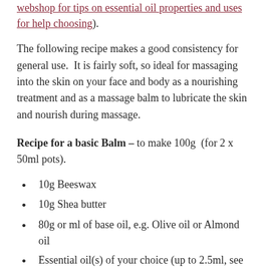webshop for tips on essential oil properties and uses for help choosing).
The following recipe makes a good consistency for general use.  It is fairly soft, so ideal for massaging into the skin on your face and body as a nourishing treatment and as a massage balm to lubricate the skin and nourish during massage.
Recipe for a basic Balm – to make 100g  (for 2 x 50ml pots).
10g Beeswax
10g Shea butter
80g or ml of base oil, e.g. Olive oil or Almond oil
Essential oil(s) of your choice (up to 2.5ml, see below for inspirations and how many drops to